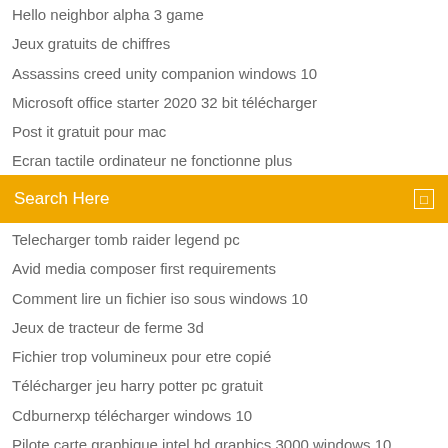Hello neighbor alpha 3 game
Jeux gratuits de chiffres
Assassins creed unity companion windows 10
Microsoft office starter 2020 32 bit télécharger
Post it gratuit pour mac
Ecran tactile ordinateur ne fonctionne plus
Que voir ce soir a la tv
[Figure (other): Orange/yellow search bar with text 'Search Here' and a small square icon on the right]
Telecharger tomb raider legend pc
Avid media composer first requirements
Comment lire un fichier iso sous windows 10
Jeux de tracteur de ferme 3d
Fichier trop volumineux pour etre copié
Télécharger jeu harry potter pc gratuit
Cdburnerxp télécharger windows 10
Pilote carte graphique intel hd graphics 3000 windows 10
Naruto ultimate ninja storm pc requirements
Telecharger super mp3 télécharger gratuit